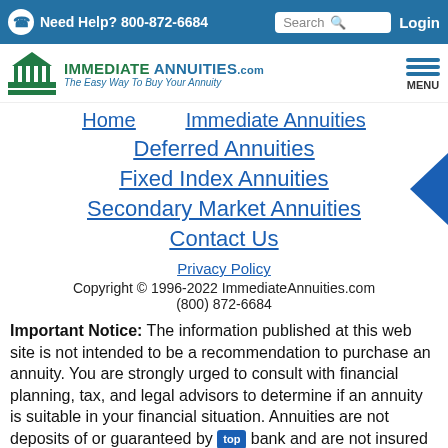Need Help? 800-872-6684  Search  Login
[Figure (logo): ImmediateAnnuities.com logo with green column icon and tagline 'The Easy Way To Buy Your Annuity']
Home
Immediate Annuities
Deferred Annuities
Fixed Index Annuities
Secondary Market Annuities
Contact Us
Privacy Policy
Copyright © 1996-2022 ImmediateAnnuities.com
(800) 872-6684
Important Notice: The information published at this web site is not intended to be a recommendation to purchase an annuity. You are strongly urged to consult with financial planning, tax, and legal advisors to determine if an annuity is suitable in your financial situation. Annuities are not deposits of or guaranteed by bank and are not insured